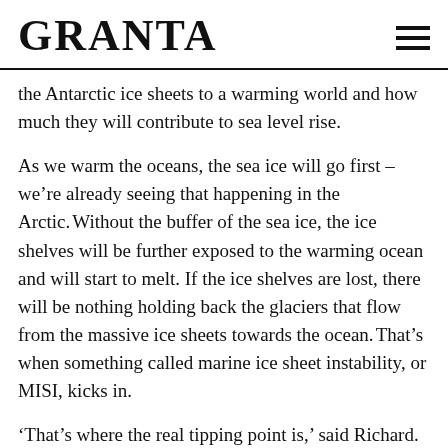GRANTA
the Antarctic ice sheets to a warming world and how much they will contribute to sea level rise.
As we warm the oceans, the sea ice will go first – we’re already seeing that happening in the Arctic. Without the buffer of the sea ice, the ice shelves will be further exposed to the warming ocean and will start to melt. If the ice shelves are lost, there will be nothing holding back the glaciers that flow from the massive ice sheets towards the ocean. That’s when something called marine ice sheet instability, or MISI, kicks in.
‘That’s where the real tipping point is,’ said Richard. ‘If we blow through that two degrees, then we’re really committed to long term, major sea level rise.’ With MISI, he explained,